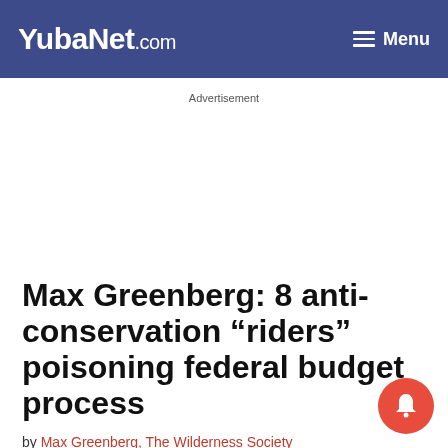YubaNet.com — Menu
Advertisement
Max Greenberg: 8 anti-conservation “riders” poisoning federal budget process
by Max Greenberg, The Wilderness Society
August 9, 2016